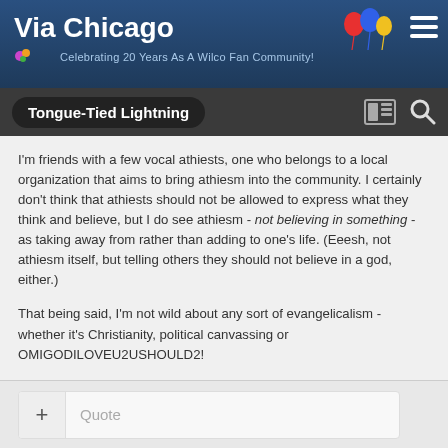Via Chicago — Celebrating 20 Years As A Wilco Fan Community!
Tongue-Tied Lightning
I'm friends with a few vocal athiests, one who belongs to a local organization that aims to bring athiesm into the community. I certainly don't think that athiests should not be allowed to express what they think and believe, but I do see athiesm - not believing in something - as taking away from rather than adding to one's life. (Eeesh, not athiesm itself, but telling others they should not believe in a god, either.)
That being said, I'm not wild about any sort of evangelicalism - whether it's Christianity, political canvassing or OMIGODILOVEU2USHOULD2!
+ Quote